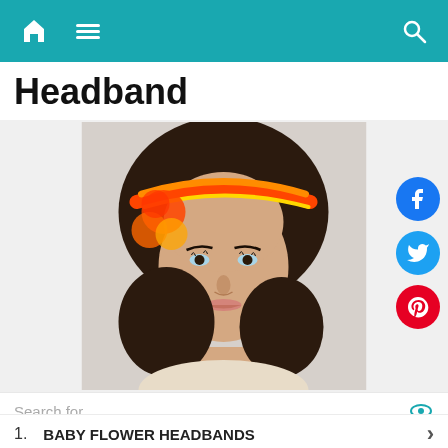Navigation bar with home, menu, and search icons
Headband
[Figure (photo): A mannequin head wearing a colorful orange, red, and yellow crocheted flower headband with long dark brown wavy hair, photographed against a white brick wall background. Social media icons (Facebook, Twitter, Pinterest) are visible on the right side.]
Search for
1. BABY FLOWER HEADBANDS
2. CROCHET FLOWER HEADBAND